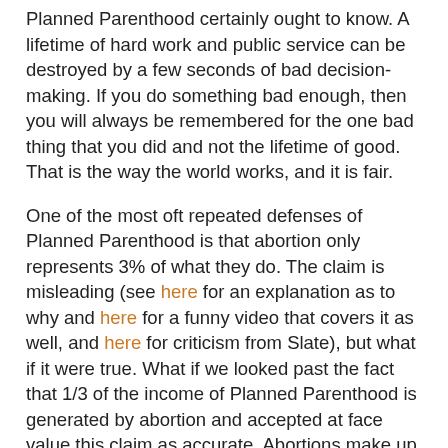Planned Parenthood certainly ought to know. A lifetime of hard work and public service can be destroyed by a few seconds of bad decision-making. If you do something bad enough, then you will always be remembered for the one bad thing that you did and not the lifetime of good. That is the way the world works, and it is fair.
One of the most oft repeated defenses of Planned Parenthood is that abortion only represents 3% of what they do. The claim is misleading (see here for an explanation as to why and here for a funny video that covers it as well, and here for criticism from Slate), but what if it were true. What if we looked past the fact that 1/3 of the income of Planned Parenthood is generated by abortion and accepted at face value this claim as accurate. Abortions make up only 3% of what Planned Parenthood does and the rest of their time is spent offering productive services.
So what? This argument is ridiculous and would be openly rejected by all reasonable people if it were offered for almost any other institution in our country except for Planned Parenthood, the Teflon Don of non profits. It is not and never